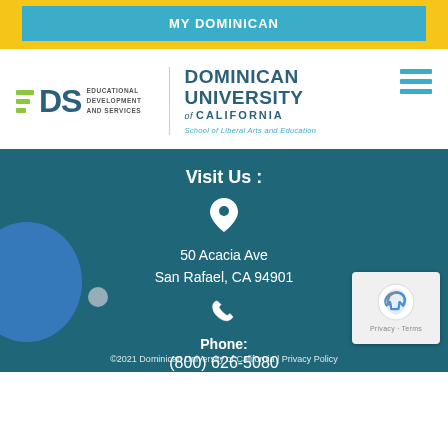MY DOMINICAN
[Figure (logo): EDS (Educational Development and Services) logo alongside Dominican University of California, School of Liberal Arts and Education wordmark]
Visit Us :
50 Acacia Ave
San Rafael, CA 94901
Phone:
(800) 626-5080
©2021 Dominican University of California | Privacy Policy